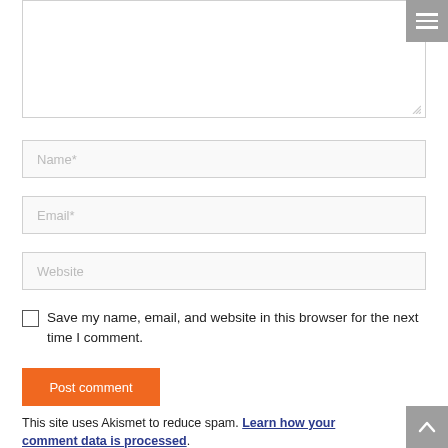[Figure (screenshot): Textarea (comment input box) with resize handle at bottom right]
[Figure (screenshot): Menu hamburger button (three horizontal white lines on grey background) in top-right corner]
Name*
Email*
Website
Save my name, email, and website in this browser for the next time I comment.
Post comment
This site uses Akismet to reduce spam. Learn how your comment data is processed.
[Figure (screenshot): Scroll-to-top button (upward arrow on grey background) in bottom-right corner]